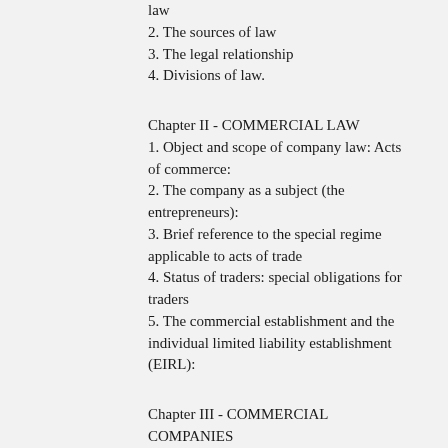law
2. The sources of law
3. The legal relationship
4. Divisions of law.
Chapter II - COMMERCIAL LAW
1. Object and scope of company law: Acts of commerce:
2. The company as a subject (the entrepreneurs):
3. Brief reference to the special regime applicable to acts of trade
4. Status of traders: special obligations for traders
5. The commercial establishment and the individual limited liability establishment (EIRL):
Chapter III - COMMERCIAL COMPANIES